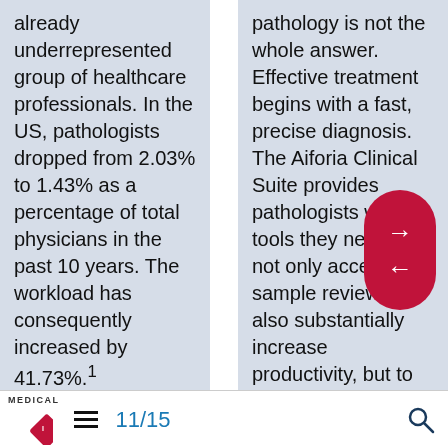already underrepresented group of healthcare professionals. In the US, pathologists dropped from 2.03% to 1.43% as a percentage of total physicians in the past 10 years. The workload has consequently increased by 41.73%.1 Pathologists have more cases and less time to review them
pathology is not the whole answer. Effective treatment begins with a fast, precise diagnosis. The Aiforia Clinical Suite provides pathologists with the tools they need to not only accelerate sample review but also substantially increase productivity, but to also improve diagnostic accuracy and patient outcomes. Each Clinical Suite tool
[Figure (infographic): Red rounded rectangle navigation overlay with right arrow on top and left arrow below, positioned over the right text column]
MEDICAL PHI logo | hamburger menu | 11/15 | search icon